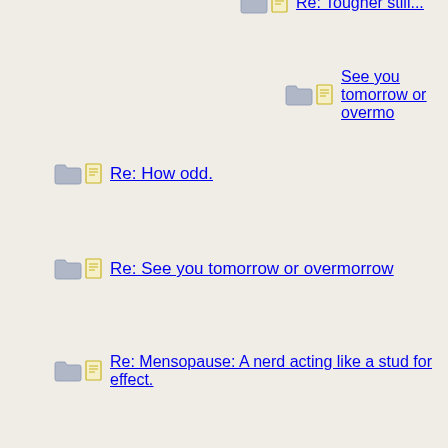Re: Tougher still...
See you tomorrow or overmo
Re: How odd.
Re: See you tomorrow or overmorrow
Re: Mensopause: A nerd acting like a stud for effect.
pouring salt in the wound
Hanging by a Mil
Re: Hanging by a Mil
esthetic reactions
I'm slow, wolf, I just now got barasthesia! :)
Re: I'm slow, wolf, I just now got barasthesia!
Re: I'm slow, wolf, I just now got barastc...